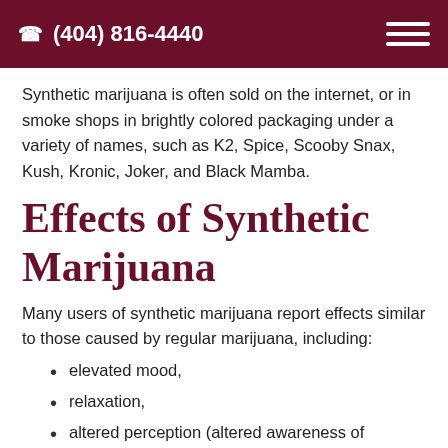(404) 816-4440
Synthetic marijuana is often sold on the internet, or in smoke shops in brightly colored packaging under a variety of names, such as K2, Spice, Scooby Snax, Kush, Kronic, Joker, and Black Mamba.
Effects of Synthetic Marijuana
Many users of synthetic marijuana report effects similar to those caused by regular marijuana, including:
elevated mood,
relaxation,
altered perception (altered awareness of surrounding circumstances and objects),
symptoms of psychosis (disordered or delusional